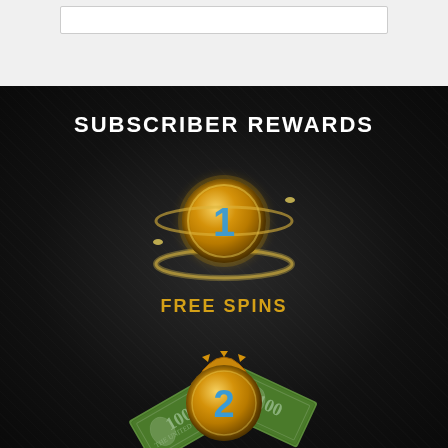SUBSCRIBER REWARDS
[Figure (illustration): Gold coin with number 1 and orbital ring around it, glowing golden effect on dark background]
FREE SPINS
[Figure (illustration): Gold medallion with number 2 surrounded by flying dollar bills on dark background]
EXCLUSIVE OFFERS